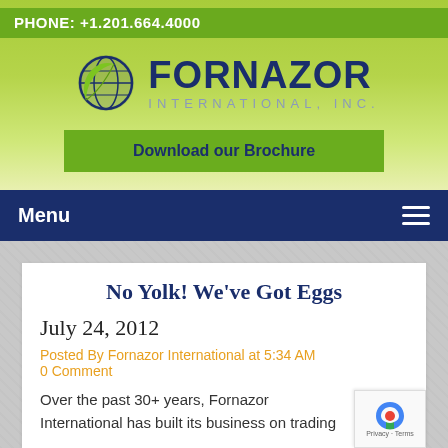PHONE: +1.201.664.4000
[Figure (logo): Fornazor International, Inc. logo with globe and leaf icon]
Download our Brochure
Menu
No Yolk! We've Got Eggs
July 24, 2012
Posted By Fornazor International at 5:34 AM
0 Comment
Over the past 30+ years, Fornazor International has built its business on trading